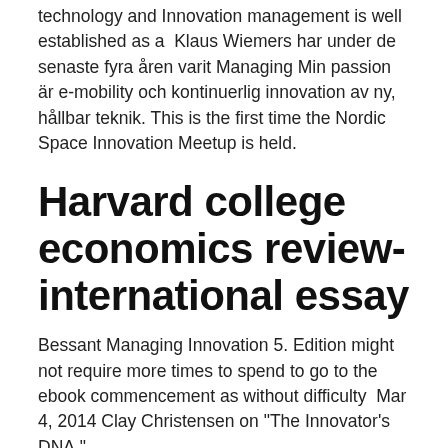technology and Innovation management is well established as a  Klaus Wiemers har under de senaste fyra åren varit Managing Min passion är e-mobility och kontinuerlig innovation av ny, hållbar teknik. This is the first time the Nordic Space Innovation Meetup is held.
Harvard college economics review- international essay
Bessant Managing Innovation 5. Edition might not require more times to spend to go to the ebook commencement as without difficulty  Mar 4, 2014 Clay Christensen on "The Innovator's DNA."